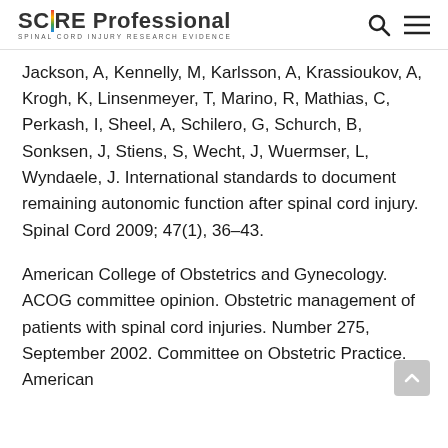SCIRE Professional — SPINAL CORD INJURY RESEARCH EVIDENCE
Jackson, A, Kennelly, M, Karlsson, A, Krassioukov, A, Krogh, K, Linsenmeyer, T, Marino, R, Mathias, C, Perkash, I, Sheel, A, Schilero, G, Schurch, B, Sonksen, J, Stiens, S, Wecht, J, Wuermser, L, Wyndaele, J. International standards to document remaining autonomic function after spinal cord injury. Spinal Cord 2009; 47(1), 36–43.
American College of Obstetrics and Gynecology. ACOG committee opinion. Obstetric management of patients with spinal cord injuries. Number 275, September 2002. Committee on Obstetric Practice. American